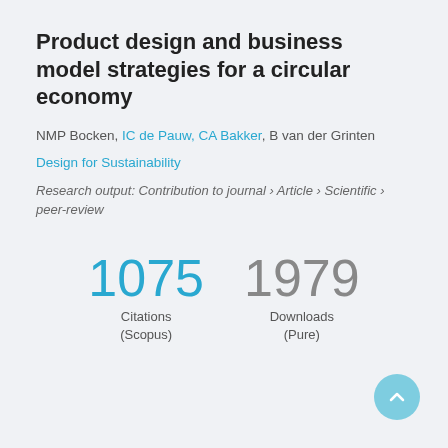Product design and business model strategies for a circular economy
NMP Bocken, IC de Pauw, CA Bakker, B van der Grinten
Design for Sustainability
Research output: Contribution to journal › Article › Scientific › peer-review
1075 Citations (Scopus)
1979 Downloads (Pure)